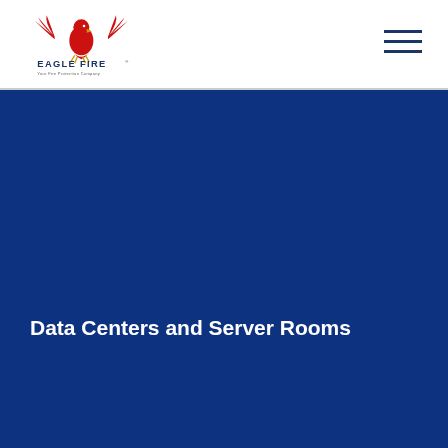[Figure (logo): Eagle Fire logo with eagle graphic, red eagle with spread wings, company name 'EAGLE FIRE' in blue text, tagline 'Your Fire Protection Company']
[Figure (illustration): Dark blue hero background panel covering approximately the lower 80% of the page]
Data Centers and Server Rooms